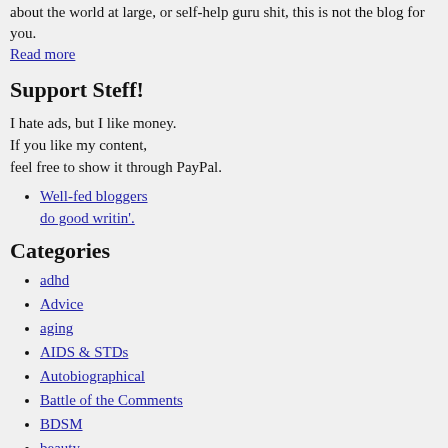about the world at large, or self-help guru shit, this is not the blog for you.
Read more
Support Steff!
I hate ads, but I like money. If you like my content, feel free to show it through PayPal.
Well-fed bloggers do good writin'.
Categories
adhd
Advice
aging
AIDS & STDs
Autobiographical
Battle of the Comments
BDSM
beauty
Being me
Being single